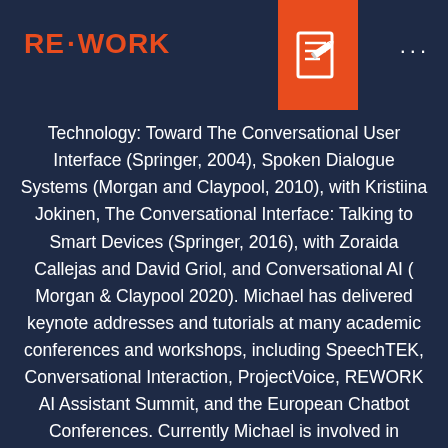RE·WORK
Technology: Toward The Conversational User Interface (Springer, 2004), Spoken Dialogue Systems (Morgan and Claypool, 2010), with Kristiina Jokinen, The Conversational Interface: Talking to Smart Devices (Springer, 2016), with Zoraida Callejas and David Griol, and Conversational AI ( Morgan & Claypool 2020). Michael has delivered keynote addresses and tutorials at many academic conferences and workshops, including SpeechTEK, Conversational Interaction, ProjectVoice, REWORK AI Assistant Summit, and the European Chatbot Conferences. Currently Michael is involved in several research and development projects investigating the use of conversational agents in socially relevant projects such as mental health monitoring, and home monitoring of older persons